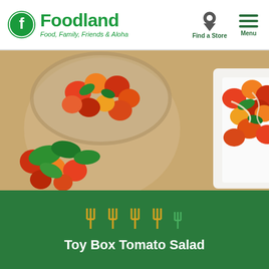Foodland - Food, Family, Friends & Aloha | Find a Store | Menu
[Figure (photo): Overhead food photo showing a bowl of mixed cherry tomatoes with basil leaves and a white rectangular plate with a colorful toy box tomato salad drizzled with dressing, on a tan background.]
[Figure (infographic): Five fork icons used as a rating indicator — four yellow/gold forks and one green fork — on a dark green background.]
Toy Box Tomato Salad